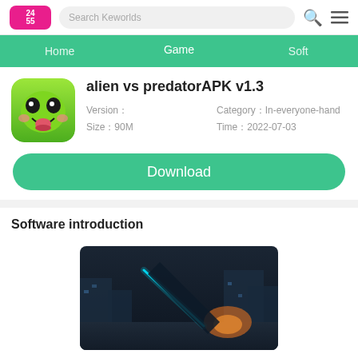Search Keworlds
Home | Game | Soft
alien vs predatorAPK v1.3
Version【 Category【In-everyone-hand Size【90M Time【2022-07-03
Download
Software introduction
[Figure (screenshot): Game screenshot showing a sci-fi scene with a glowing cyan line against a dark background with orange light]